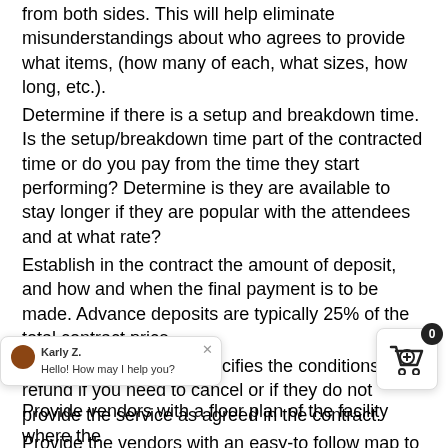from both sides. This will help eliminate misunderstandings about who agrees to provide what items, (how many of each, what sizes, how long, etc.).
Determine if there is a setup and breakdown time. Is the setup/breakdown time part of the contracted time or do you pay from the time they start performing? Determine is they are available to stay longer if they are popular with the attendees and at what rate?
Establish in the contract the amount of deposit, and how and when the final payment is to be made. Advance deposits are typically 25% of the total contract price.
Ensure your contract specifies the conditions for a refund if you need to cancel or if they do not provide the service as agreed in the contract.
Provide the vendors with an easy-to follow map to the event site and directions for convenient unloading of the [...]re do they offload their equipment [...]
Provide vendors with a floor plan of the facility where the